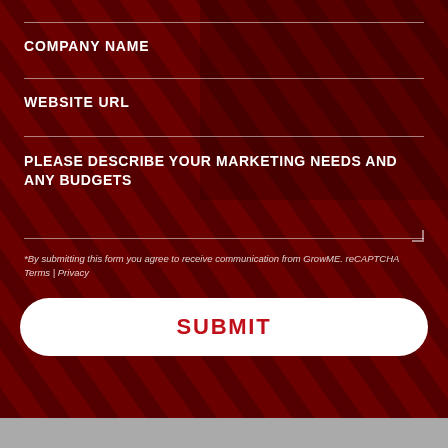COMPANY NAME
WEBSITE URL
PLEASE DESCRIBE YOUR MARKETING NEEDS AND ANY BUDGETS
*By submitting this form you agree to receive communication from GrowME. reCAPTCHA Terms | Privacy
SUBMIT